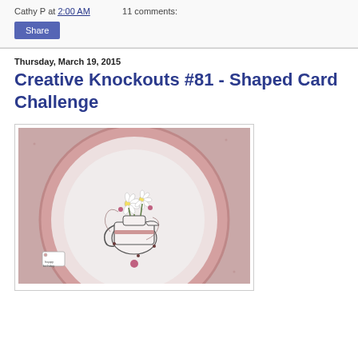Cathy P at 2:00 AM    11 comments:
Share
Thursday, March 19, 2015
Creative Knockouts #81 - Shaped Card Challenge
[Figure (photo): A circular shaped card featuring a white pitcher/jug with daisy flowers and decorative flourishes, layered on a large pink/mauve patterned circular background. Small gift tag visible in lower left corner.]